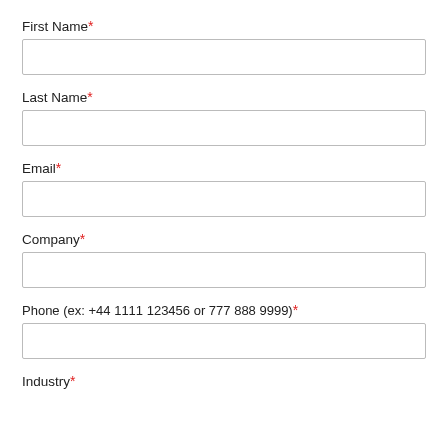First Name*
Last Name*
Email*
Company*
Phone (ex: +44 1111 123456 or 777 888 9999)*
Industry*